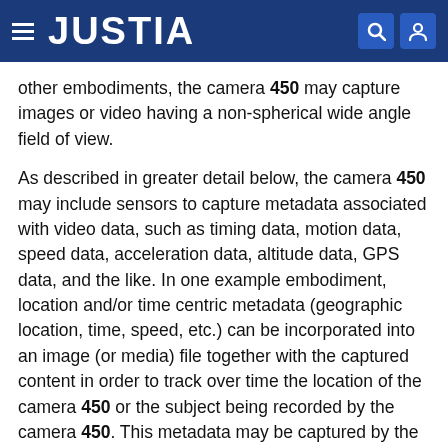JUSTIA
other embodiments, the camera 450 may capture images or video having a non-spherical wide angle field of view.
As described in greater detail below, the camera 450 may include sensors to capture metadata associated with video data, such as timing data, motion data, speed data, acceleration data, altitude data, GPS data, and the like. In one example embodiment, location and/or time centric metadata (geographic location, time, speed, etc.) can be incorporated into an image (or media) file together with the captured content in order to track over time the location of the camera 450 or the subject being recorded by the camera 450. This metadata may be captured by the camera 450 itself or by another device (e.g., a mobile phone, a data tracker worn by a subject (e.g., a smart watch or fitness tracker equipped